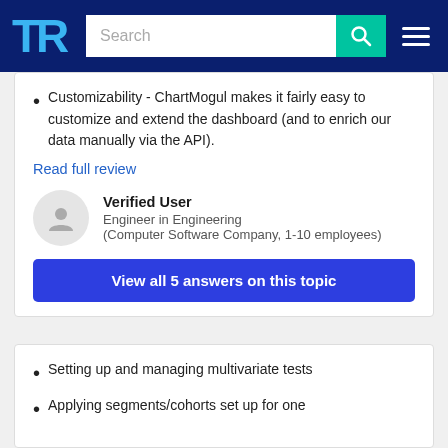TrustRadius - Search
Customizability - ChartMogul makes it fairly easy to customize and extend the dashboard (and to enrich our data manually via the API).
Read full review
Verified User
Engineer in Engineering
(Computer Software Company, 1-10 employees)
View all 5 answers on this topic
Setting up and managing multivariate tests
Applying segments/cohorts set up for one